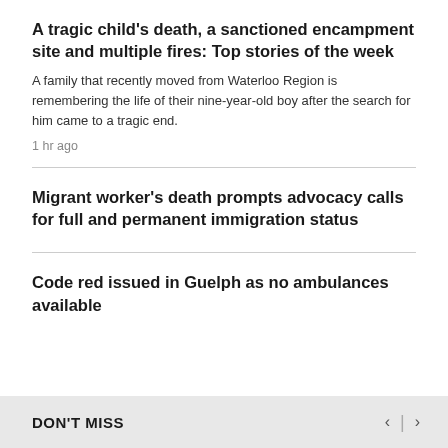A tragic child's death, a sanctioned encampment site and multiple fires: Top stories of the week
A family that recently moved from Waterloo Region is remembering the life of their nine-year-old boy after the search for him came to a tragic end.
1 hr ago
Migrant worker's death prompts advocacy calls for full and permanent immigration status
Code red issued in Guelph as no ambulances available
DON'T MISS